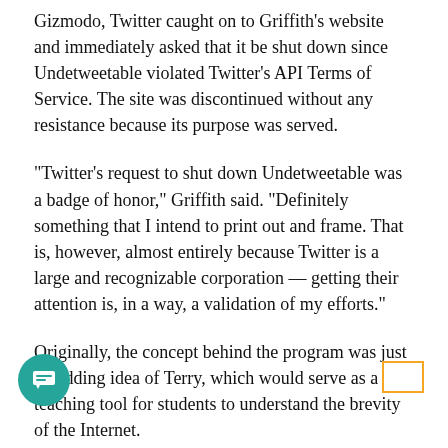Gizmodo, Twitter caught on to Griffith's website and immediately asked that it be shut down since Undetweetable violated Twitter's API Terms of Service. The site was discontinued without any resistance because its purpose was served.
"Twitter's request to shut down Undetweetable was a badge of honor," Griffith said. "Definitely something that I intend to print out and frame. That is, however, almost entirely because Twitter is a large and recognizable corporation — getting their attention is, in a way, a validation of my efforts."
Originally, the concept behind the program was just a budding idea of Terry, which would serve as a teaching tool for students to understand the brevity of the Internet.
"I wanted to have people pay more attention before they hit send on a social network. I wanted them to think more about what it means to share your information and who owns it and where it goes